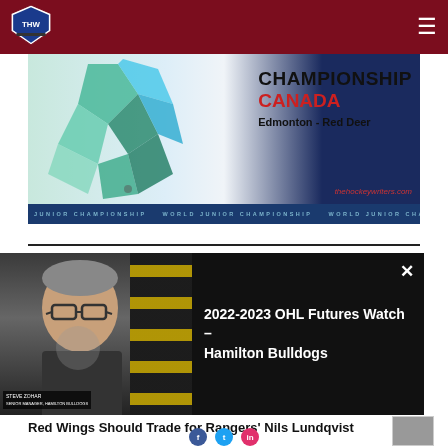THW - The Hockey Writers
[Figure (photo): World Junior Championship Canada – Edmonton Red Deer banner with hockey player graphic, thehockeywriters.com watermark, and repeating 'WORLD JUNIOR CHAMPIONSHIP' text at bottom]
[Figure (screenshot): Video player overlay showing a man with glasses on left side with yellow/black striped background, and on the right side text: 2022-2023 OHL Futures Watch – Hamilton Bulldogs, on black background with X close button]
Red Wings Should Trade for Rangers' Nils Lundqvist